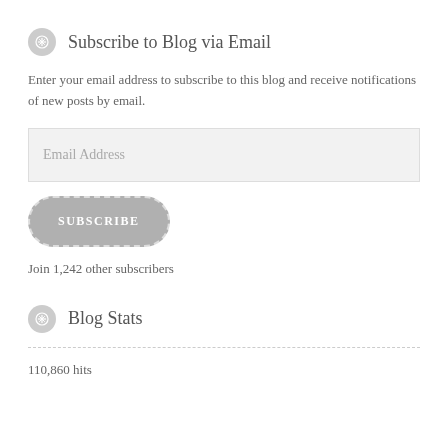Subscribe to Blog via Email
Enter your email address to subscribe to this blog and receive notifications of new posts by email.
Email Address
SUBSCRIBE
Join 1,242 other subscribers
Blog Stats
110,860 hits